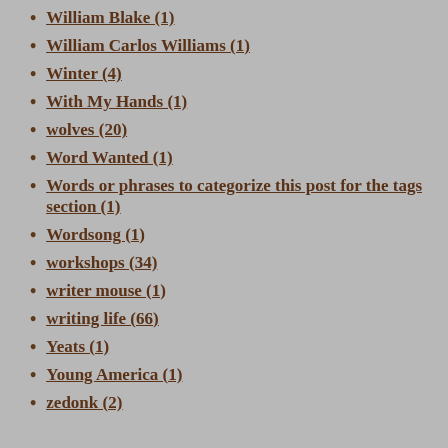William Blake (1)
William Carlos Williams (1)
Winter (4)
With My Hands (1)
wolves (20)
Word Wanted (1)
Words or phrases to categorize this post for the tags section (1)
Wordsong (1)
workshops (34)
writer mouse (1)
writing life (66)
Yeats (1)
Young America (1)
zedonk (2)